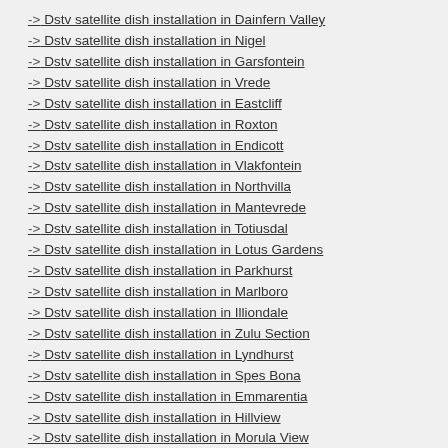-> Dstv satellite dish installation in Dainfern Valley
-> Dstv satellite dish installation in Nigel
-> Dstv satellite dish installation in Garsfontein
-> Dstv satellite dish installation in Vrede
-> Dstv satellite dish installation in Eastcliff
-> Dstv satellite dish installation in Roxton
-> Dstv satellite dish installation in Endicott
-> Dstv satellite dish installation in Vlakfontein
-> Dstv satellite dish installation in Northvilla
-> Dstv satellite dish installation in Mantevrede
-> Dstv satellite dish installation in Totiusdal
-> Dstv satellite dish installation in Lotus Gardens
-> Dstv satellite dish installation in Parkhurst
-> Dstv satellite dish installation in Marlboro
-> Dstv satellite dish installation in Illiondale
-> Dstv satellite dish installation in Zulu Section
-> Dstv satellite dish installation in Lyndhurst
-> Dstv satellite dish installation in Spes Bona
-> Dstv satellite dish installation in Emmarentia
-> Dstv satellite dish installation in Hillview
-> Dstv satellite dish installation in Morula View
-> Dstv satellite dish installation in Edenvale
-> Dstv satellite dish installation in Rietvlei
-> Dstv satellite dish installation in Brentwood